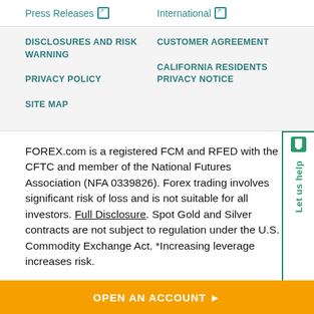Press Releases ↗
International ↗
DISCLOSURES AND RISK WARNING
CUSTOMER AGREEMENT
PRIVACY POLICY
CALIFORNIA RESIDENTS PRIVACY NOTICE
SITE MAP
FOREX.com is a registered FCM and RFED with the CFTC and member of the National Futures Association (NFA 0339826). Forex trading involves significant risk of loss and is not suitable for all investors. Full Disclosure. Spot Gold and Silver contracts are not subject to regulation under the U.S. Commodity Exchange Act. *Increasing leverage increases risk.
GAIN Capital Group LLC (dba FOREX.com) 30 Independence Blvd, Suite 300 (3rd floor), Warren, NJ
OPEN AN ACCOUNT ▶